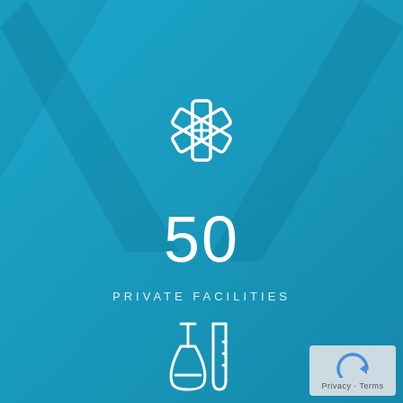[Figure (illustration): Blue background with large V-shape/chevron watermark and two white outline icons: a medical asterisk/star of life at the top center, and laboratory flask/beaker icons at the bottom center]
50
PRIVATE FACILITIES